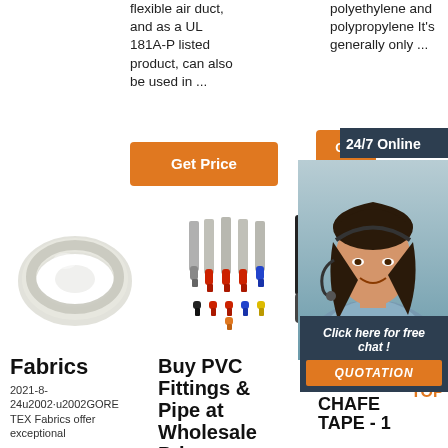flexible air duct, and as a UL 181A-P listed product, can also be used in ...
polyethylene and polypropylene It's generally only ...
Get Price
Get
24/7 Online
[Figure (photo): Customer service agent, woman with headset, smiling]
Click here for free chat !
QUOTATION
[Figure (photo): Clear PVC tubing coiled in a roll]
[Figure (photo): Assorted wire ferrule connectors in multiple colors]
[Figure (photo): Black cable connectors/fittings]
Fabrics
2021-8-24u2002·u2002GORE TEX Fabrics offer exceptional
Buy PVC Fittings & Pipe at Wholesale Prices
TEFLON™ ANTI-CHAFE TAPE - 1
[Figure (logo): TOP logo with orange triangle above orange text TOP]